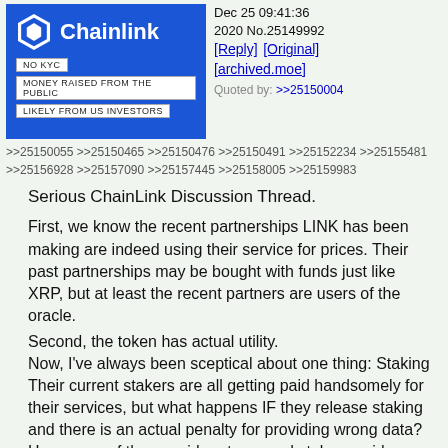[Figure (logo): Chainlink logo on blue background with white hexagon icon and white text 'Chainlink', with tags: 'NO KYC', 'MONEY RAISED FROM THE PUBLIC', 'LIKELY FROM US INVESTORS']
Dec 25 09:41:36 2020 No.25149992 [Reply] [Original] [archived.moe]
Quoted by: >>25150004
>>25150055 >>25150465 >>25150476 >>25150491 >>25152234 >>25155481 >>25156928 >>25157090 >>25157445 >>25158005 >>25159983
Serious ChainLink Discussion Thread.

First, we know the recent partnerships LINK has been making are indeed using their service for prices. Their past partnerships may be bought with funds just like XRP, but at least the recent partners are users of the oracle.
Second, the token has actual utility.
Now, I've always been sceptical about one thing: Staking
Their current stakers are all getting paid handsomely for their services, but what happens IF they release staking and there is an actual penalty for providing wrong data?
How many of these paid partners and stake providers are gonna stick around when the free money dries up?
That's why I was always been of the opinion that staking is never coming, they are pivoting into